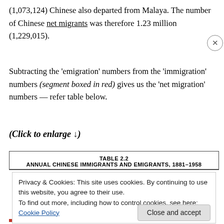(1,073,124) Chinese also departed from Malaya. The number of Chinese net migrants was therefore 1.23 million (1,229,015).
Subtracting the ‘emigration’ numbers from the ‘immigration’ numbers (segment boxed in red) gives us the ‘net migration’ numbers — refer table below.
(Click to enlarge ↓)
| TABLE 2.2 | ANNUAL CHINESE IMMIGRANTS AND EMIGRANTS, 1881–1958 |
| --- | --- |
Privacy & Cookies: This site uses cookies. By continuing to use this website, you agree to their use.
To find out more, including how to control cookies, see here: Cookie Policy